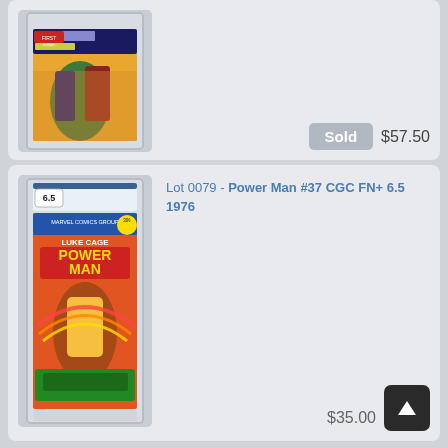[Figure (photo): CGC graded comic book cover for a first issue, shown in a CGC slab]
Sold  $57.50
[Figure (photo): CGC graded Luke Cage Power Man #37 comic book, grade 6.5, in a CGC slab]
Lot 0079 - Power Man #37 CGC FN+ 6.5 1976
$35.00